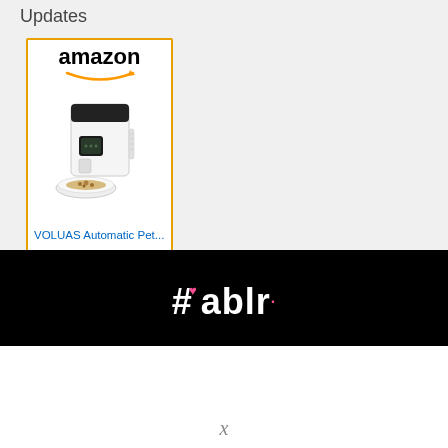Updates
[Figure (other): Amazon advertisement showing VOLUAS Automatic Pet Feeder for $54.99 with Prime badge and Shop now button]
[Figure (logo): Hablr logo in white on black background with hashtag symbol and pink heart accent and pink dot after r]
X